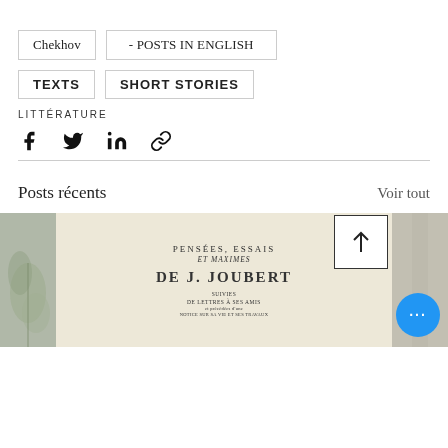Chekhov
- POSTS IN ENGLISH
TEXTS
SHORT STORIES
LITTÉRATURE
[Figure (infographic): Social sharing icons: Facebook, Twitter, LinkedIn, and link/chain icon]
Posts récents
Voir tout
[Figure (photo): Left: a nature/botanical photo in grey-green tones. Center: a vintage book page showing 'PENSEES, ESSAIS ET MAXIMES DE J. JOUBERT SUIVIES DE LETTRES A SES AMIS'. Right: a grey-beige fabric or background. Overlaid: a white box with an up-arrow, and a blue circle with three dots (ellipsis menu).]